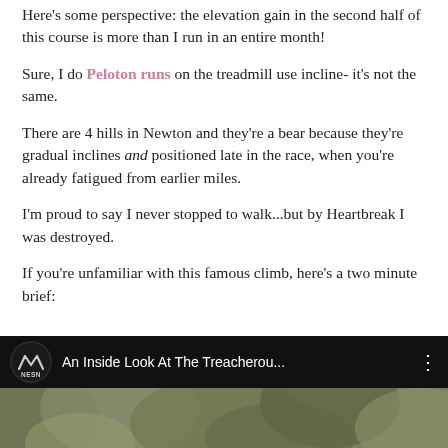Here's some perspective: the elevation gain in the second half of this course is more than I run in an entire month!
Sure, I do Peloton runs on the treadmill use incline- it's not the same.
There are 4 hills in Newton and they're a bear because they're gradual inclines and positioned late in the race, when you're already fatigued from earlier miles.
I'm proud to say I never stopped to walk...but by Heartbreak I was destroyed.
If you're unfamiliar with this famous climb, here's a two minute brief:
[Figure (screenshot): YouTube-style video embed thumbnail with NESN logo on dark bar, title 'An Inside Look At The Treacherou...' and a three-dot menu icon, with a nature/leaves thumbnail image below]